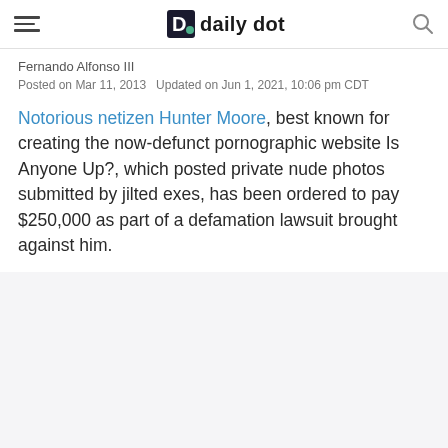daily dot
Fernando Alfonso III
Posted on Mar 11, 2013   Updated on Jun 1, 2021, 10:06 pm CDT
Notorious netizen Hunter Moore, best known for creating the now-defunct pornographic website Is Anyone Up?, which posted private nude photos submitted by jilted exes, has been ordered to pay $250,000 as part of a defamation lawsuit brought against him.